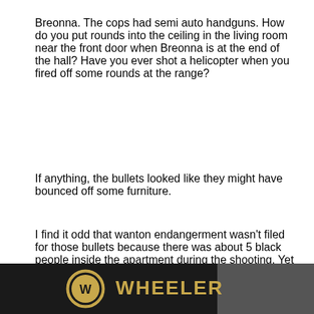Breonna. The cops had semi auto handguns. How do you put rounds into the ceiling in the living room near the front door when Breonna is at the end of the hall? Have you ever shot a helicopter when you fired off some rounds at the range?
If anything, the bullets looked like they might have bounced off some furniture.
I find it odd that wanton endangerment wasn't filed for those bullets because there was about 5 black people inside the apartment during the shooting. Yet the 3 white people on the other side of the wall got their justice, they are suing as well.
[Figure (logo): Wheeler brand logo on black background bar at bottom of page]